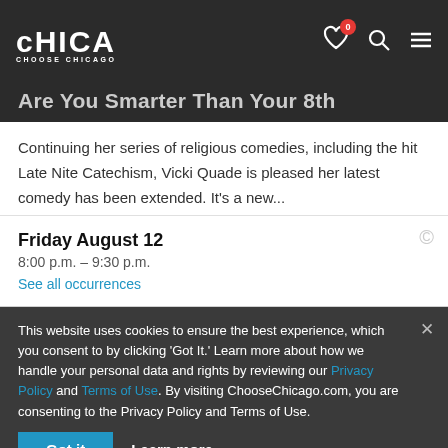Chicago — Choose Chicago navigation bar with logo, heart icon (0), search, and menu
Are You Smarter Than Your 8th
Continuing her series of religious comedies, including the hit Late Nite Catechism, Vicki Quade is pleased her latest comedy has been extended. It's a new...
Event details
Lincoln Park
Friday August 12
8:00 p.m. – 9:30 p.m.
See all occurrences
This website uses cookies to ensure the best experience, which you consent to by clicking 'Got It.' Learn more about how we handle your personal data and rights by reviewing our Privacy Policy and Terms of Use. By visiting ChooseChicago.com, you are consenting to the Privacy Policy and Terms of Use.
Got it
Learn more